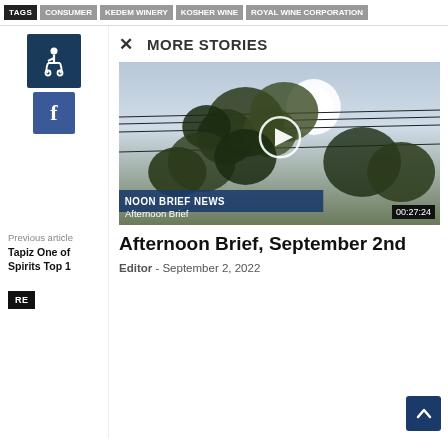TAGS | CONSUMER | KEDEM WINERY | KOSHER WINE | ROYAL WINE CORPORATION
[Figure (illustration): Accessibility wheelchair icon on dark navy square]
[Figure (logo): Facebook button with lowercase 'f' on blue background]
Previous article
Tapiz One of Spirits Top 1
MORE STORIES
[Figure (photo): Video thumbnail showing grapevines against sky with play button. Overlay text: NOON BRIEF NEWS, Afternoon Brief, 00:27:24]
Afternoon Brief, September 2nd
Editor - September 2, 2022